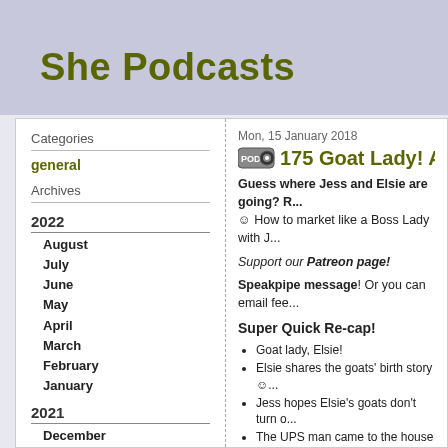She Podcasts
Categories
general
Archives
2022
August
July
June
May
April
March
February
January
2021
December
November
October
September
August
Mon, 15 January 2018
175 Goat Lady! And...
Guess where Jess and Elsie are going? R... ☺ How to market like a Boss Lady with J...
Support our Patreon page!
Speakpipe message! Or you can email fee...
Super Quick Re-cap!
Goat lady, Elsie!
Elsie shares the goats' birth story ☺...
Jess hopes Elsie's goats don't turn o...
The UPS man came to the house an...
17:00 NEWS brought to you by Po...
Apple's new show is based...
Moving on to Gimlet making...
WHY HASN'T ELSIE WATC...
Libsyn acquired a web host...
Going into why preloading m... stats
It's on the compounded exp... advertising work - not for or...
Why podcasters fail by foo...